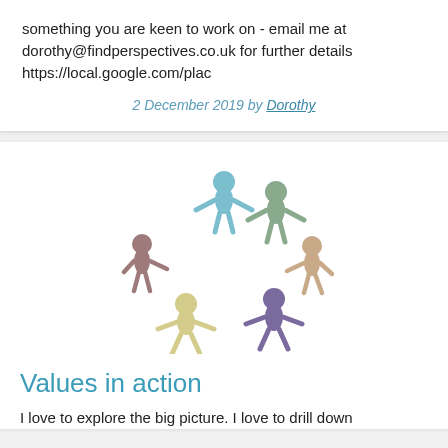something you are keen to work on - email me at dorothy@findperspectives.co.uk for further details https://local.google.com/plac
2 December 2019 by Dorothy
[Figure (illustration): Circle of six colorful paper-cut human figures holding hands, in muted tones of blue, green, mauve/brown, yellow, purple, and tan/beige.]
Values in action
I love to explore the big picture. I love to drill down